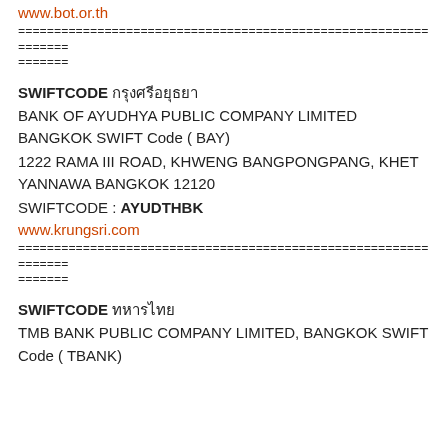www.bot.or.th
================================================================
=======
SWIFTCODE กรุงศรีอยุธยา
BANK OF AYUDHYA PUBLIC COMPANY LIMITED BANGKOK SWIFT Code ( BAY)
1222 RAMA III ROAD, KHWENG BANGPONGPANG, KHET YANNAWA BANGKOK 12120
SWIFTCODE : AYUDTHBK
www.krungsri.com
================================================================
=======
SWIFTCODE ทหารไทย
TMB BANK PUBLIC COMPANY LIMITED, BANGKOK SWIFT Code ( TBANK)